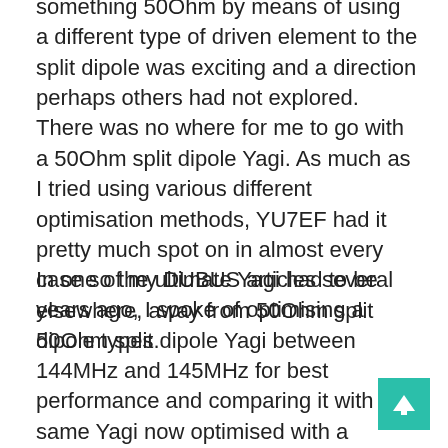something 50Ohm by means of using a different type of driven element to the split dipole was exciting and a direction perhaps others had not explored. There was no where for me to go with a 50Ohm split dipole Yagi. As much as I tried using various different optimisation methods, YU7EF had it pretty much spot on in almost every case so the ultimate Yagi had to be elsewhere, away from 50Ohm split dipole types.
In one of my DUBUS articles several years ago, I spoke of optimising a 50Ohm split dipole Yagi between 144MHz and 145MHz for best performance and comparing it with the same Yagi now optimised with a 40Ohm feed point impedance (still split dipole). I could achieve better performance in terms of gain and F/B on the 40Ohm Yagi than I could on the 50Ohm Yagi or could optimise the 40Ohm Yagi for the same performance as the 50Ohm but with its peak further...